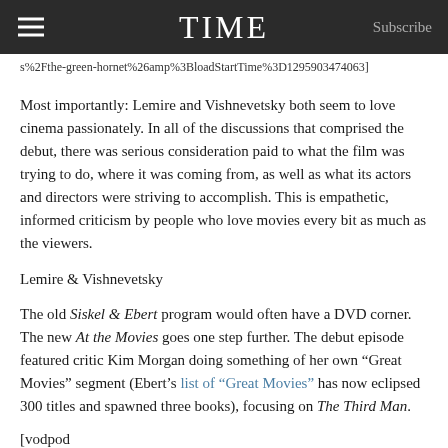TIME  Subscribe
s%2Fthe-green-hornet%26amp%3BloadStartTime%3D1295903474063]
Most importantly: Lemire and Vishnevetsky both seem to love cinema passionately. In all of the discussions that comprised the debut, there was serious consideration paid to what the film was trying to do, where it was coming from, as well as what its actors and directors were striving to accomplish. This is empathetic, informed criticism by people who love movies every bit as much as the viewers.
Lemire & Vishnevetsky
The old Siskel & Ebert program would often have a DVD corner. The new At the Movies goes one step further. The debut episode featured critic Kim Morgan doing something of her own “Great Movies” segment (Ebert’s list of “Great Movies” has now eclipsed 300 titles and spawned three books), focusing on The Third Man.
[vodpod